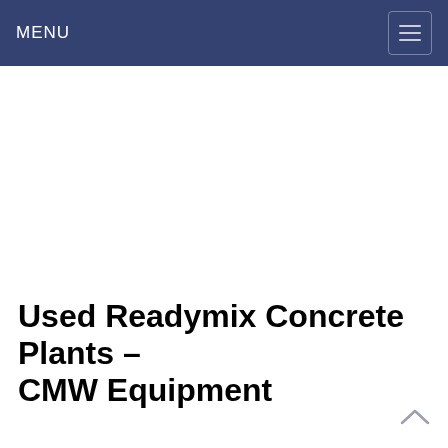MENU
Used Readymix Concrete Plants – CMW Equipment